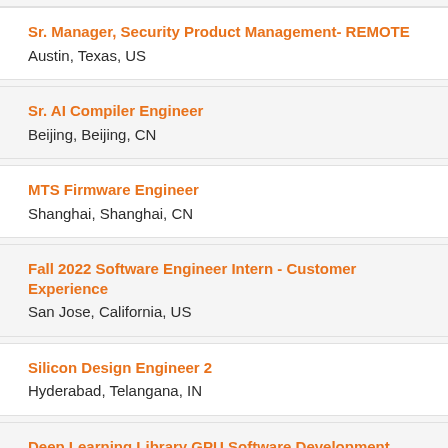Sr. Manager, Security Product Management- REMOTE
Austin, Texas, US
Sr. AI Compiler Engineer
Beijing, Beijing, CN
MTS Firmware Engineer
Shanghai, Shanghai, CN
Fall 2022 Software Engineer Intern - Customer Experience
San Jose, California, US
Silicon Design Engineer 2
Hyderabad, Telangana, IN
Deep Learning Library GPU Software Development Engineer
Milton Keynes, Buckinghamshire, GB